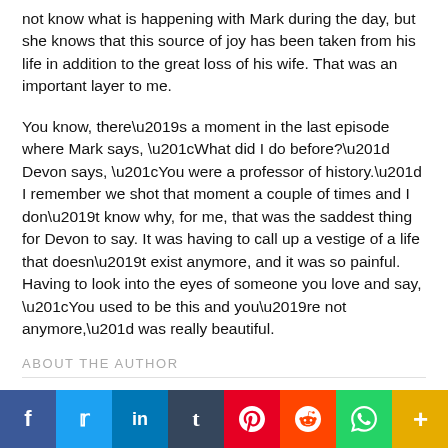not know what is happening with Mark during the day, but she knows that this source of joy has been taken from his life in addition to the great loss of his wife. That was an important layer to me.
You know, there’s a moment in the last episode where Mark says, “What did I do before?” Devon says, “You were a professor of history.” I remember we shot that moment a couple of times and I don’t know why, for me, that was the saddest thing for Devon to say. It was having to call up a vestige of a life that doesn’t exist anymore, and it was so painful. Having to look into the eyes of someone you love and say, “You used to be this and you’re not anymore,” was really beautiful.
ABOUT THE AUTHOR
[Figure (other): Social media share buttons bar: Facebook, Twitter, LinkedIn, Tumblr, Pinterest, Reddit, WhatsApp, More]